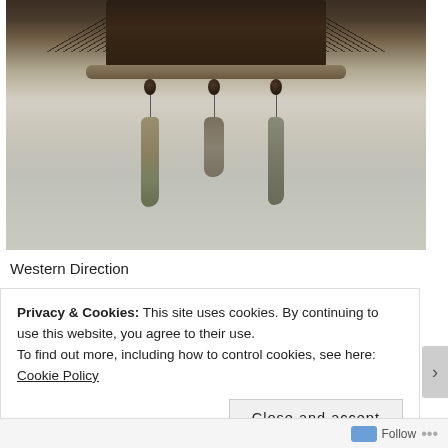[Figure (photo): Photograph of a wall-hung decorative piece made of driftwood, feathers, and hanging natural elements including elongated driftwood pieces and dark beads, mounted against a white textured wall.]
Western Direction
Privacy & Cookies: This site uses cookies. By continuing to use this website, you agree to their use.
To find out more, including how to control cookies, see here: Cookie Policy
Close and accept